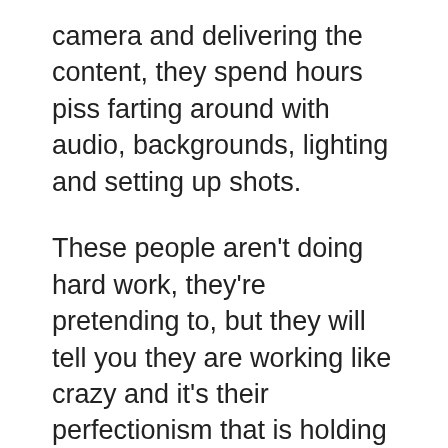camera and delivering the content, they spend hours piss farting around with audio, backgrounds, lighting and setting up shots.
These people aren't doing hard work, they're pretending to, but they will tell you they are working like crazy and it's their perfectionism that is holding them back.
Sorry, I call bullshit.
What's going on here is, like I said, action faking.
They are talking about working hard and